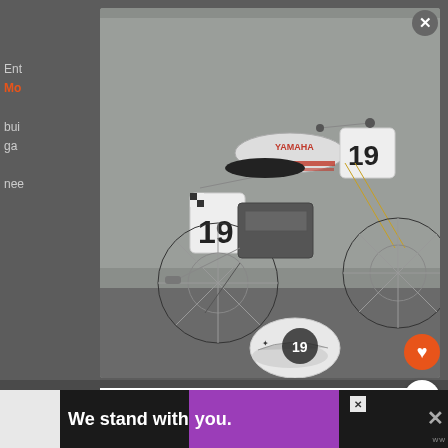Ent... Mo... bui... ga... nee...
[Figure (photo): Custom Yamaha flat tracker motorcycle number 19, silver/white with red accents, parked outdoors with a matching helmet on the ground in front]
NEVER MISS A BIKE
Subscribe to BikeBoun...
Hot builds, exclusive discounts, no BS.
WHAT'S NEXT → 1974 Yamaha TZ750 Drag...
We stand with you.